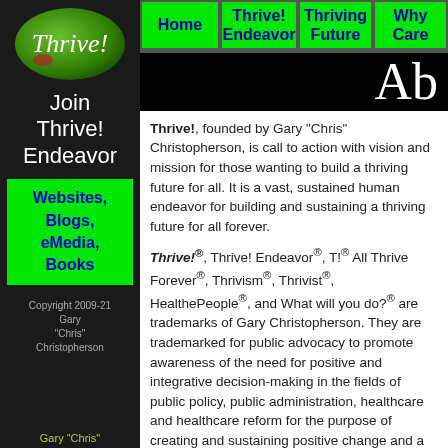[Figure (logo): Thrive! logo — green oval with italic white text 'Thrive!' and small red accent]
Join Thrive! Endeavor
Websites, Blogs, eMedia, Books
Copyright 2009-21 Gary "Chris" Christopherson
Gary "Chris"
Home | Thrive! Endeavor | Thriving Future | Why Care
Ab...
Thrive!, founded by Gary "Chris" Christopherson, is call to action with vision and mission for those wanting to build a thriving future for all. It is a vast, sustained human endeavor for building and sustaining a thriving future for all forever.
Thrive!®, Thrive! Endeavor®, T!® All Thrive Forever®, Thrivism®, Thrivist®, HealthePeople®, and What will you do?® are trademarks of Gary Christopherson. They are trademarked for public advocacy to promote awareness of the need for positive and integrative decision-making in the fields of public policy, public administration, healthcare and healthcare reform for the purpose of creating and sustaining positive change and a better, thriving future for communities on the local, state, regional and national levels.